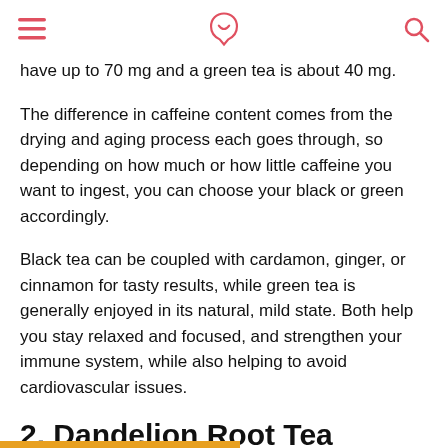[hamburger menu] [logo] [search icon]
have up to 70 mg and a green tea is about 40 mg.
The difference in caffeine content comes from the drying and aging process each goes through, so depending on how much or how little caffeine you want to ingest, you can choose your black or green accordingly.
Black tea can be coupled with cardamon, ginger, or cinnamon for tasty results, while green tea is generally enjoyed in its natural, mild state. Both help you stay relaxed and focused, and strengthen your immune system, while also helping to avoid cardiovascular issues.
2. Dandelion Root Tea